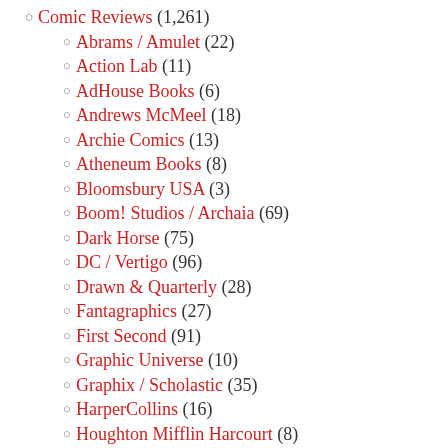Comic Reviews (1,261)
Abrams / Amulet (22)
Action Lab (11)
AdHouse Books (6)
Andrews McMeel (18)
Archie Comics (13)
Atheneum Books (8)
Bloomsbury USA (3)
Boom! Studios / Archaia (69)
Dark Horse (75)
DC / Vertigo (96)
Drawn & Quarterly (28)
Fantagraphics (27)
First Second (91)
Graphic Universe (10)
Graphix / Scholastic (35)
HarperCollins (16)
Houghton Mifflin Harcourt (8)
IDW / Top Shelf (62)
Image Comics (71)